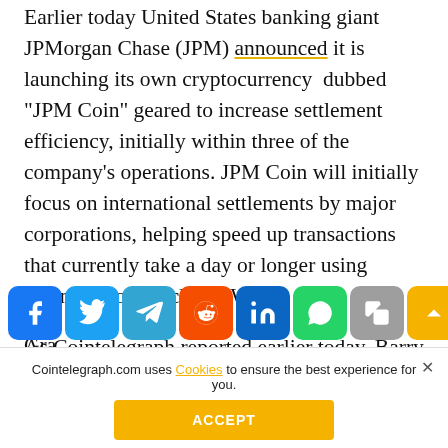Earlier today United States banking giant JPMorgan Chase (JPM) announced it is launching its own cryptocurrency dubbed "JPM Coin" geared to increase settlement efficiency, initially within three of the company's operations. JPM Coin will initially focus on international settlements by major corporations, helping speed up transactions that currently take a day or longer using extant options such as SWIFT.
As Cointelegraph reported earlier today, Barry Silbert, CEO [of Digital Currency Group (DCG) and] Grayscale [Investments, said] digital tokens will not have value in the long run. In a purported phone call with investors, Silbert said: "I'm not a believer in the vast majority of digital tokens and I believe most will go to zero. Every [initial coin offering] ICO was just an attempt to raise money but
[Figure (infographic): Row of social media share buttons: Facebook (blue), Twitter (light blue), Telegram (teal), Reddit (orange-red), LinkedIn (dark blue), WhatsApp (green), Copy (gray), Scroll-up/arrow (yellow)]
Cointelegraph.com uses Cookies to ensure the best experience for you.
ACCEPT